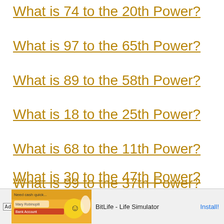What is 74 to the 20th Power?
What is 97 to the 65th Power?
What is 89 to the 58th Power?
What is 18 to the 25th Power?
What is 68 to the 11th Power?
What is 99 to the 37th Power?
What is 51 to the 55th Power?
What is 30 to the 47th Power?
[Figure (screenshot): Ad banner for BitLife - Life Simulator app with Install button]